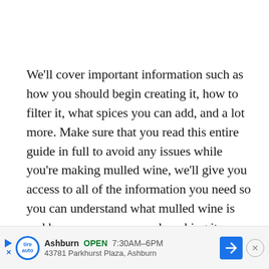We'll cover important information such as how you should begin creating it, how to filter it, what spices you can add, and a lot more. Make sure that you read this entire guide in full to avoid any issues while you're making mulled wine, we'll give you access to all of the information you need so you can understand what mulled wine is and how you can approach making it on your own.
[Figure (screenshot): Partial view of a table of contents section (text cut off as 'Tab') and an advertisement banner for an auto service in Ashburn showing 'OPEN 7:30AM-6PM, 43781 Parkhurst Plaza, Ashburn']